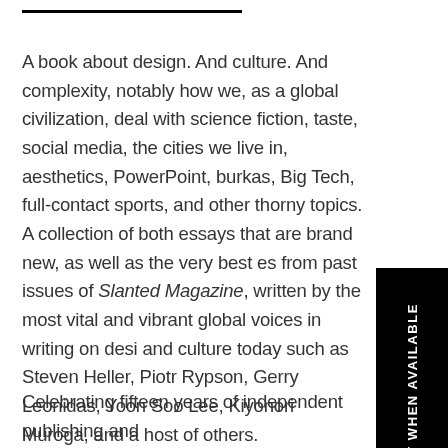A book about design. And culture. And complexity, notably how we, as a global civilization, deal with science fiction, taste, social media, the cities we live in, aesthetics, PowerPoint, burkas, Big Tech, full-contact sports, and other thorny topics. A collection of both essays that are brand new, as well as the very best essays from past issues of Slanted Magazine, written by the most vital and vibrant global voices in writing on design and culture today such as Steven Heller, Piotr Rypson, Gerry Leonidas, Yoon Soo Lee, Kiyonori Muroga, and a host of others.
[Figure (other): Black vertical banner on the right side with rotated white text reading 'NOTIFY WHEN AVAILABLE']
Celebrating fifteen years of independent publishing and bringing together a brilliant slate of authors and essayists